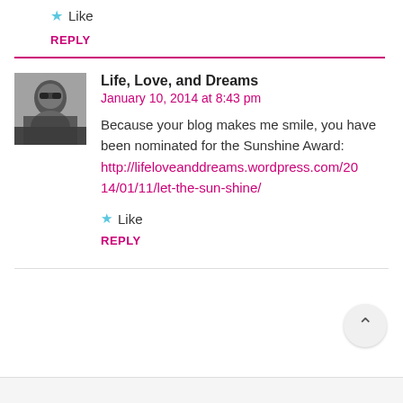★ Like
REPLY
Life, Love, and Dreams
January 10, 2014 at 8:43 pm
Because your blog makes me smile, you have been nominated for the Sunshine Award: http://lifeloveanddreams.wordpress.com/2014/01/11/let-the-sun-shine/
★ Like
REPLY